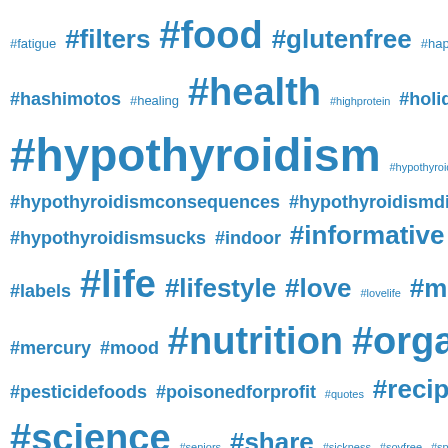[Figure (infographic): Word cloud of health and thyroid-related hashtags in various font sizes, all in blue on white background. Largest words: #hypothyroidism, #health, #food, #nutrition, #organic, #stress, #thyroid, #science, #life, #lifestyle, #medicine, #recipes, #share, #wishlist, #women, #weightloss. Medium: #filters, #glutenfree, #hashimotos, #healing, #highprotein, #holiday, #hypothyroidismbooks, #hypothyroidismconsequences, #hypothyroidismdiet, #hypothyroidismsucks, #indoor, #informative, #knowledge, #labels, #love, #lovelife, #mercury, #mood, #pesticidefoods, #poisonedforprofit, #quotes, #seniors, #sickness, #soyfree, #spiritual, #tests, #thehypothyroidismchick, #thyroiddisorder, #thyroidism, #thyroidweightloss, #training, #wisdom, #workouts, blood. Smaller: #fatigue, #happiness.]